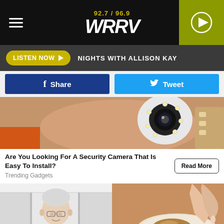92.7 / 96.9 WRRV
LISTEN NOW  NIGHTS WITH ALLISON KAY
Share  Tweet
[Figure (photo): A hand holding a small round white security camera with LED lights around the lens]
Are You Looking For A Security Camera That Is Easy To Install?
Trending Gadgets
Read More
[Figure (photo): Split image: left shows an elderly man with glasses in a hallway; right shows a hand near food on a plate]